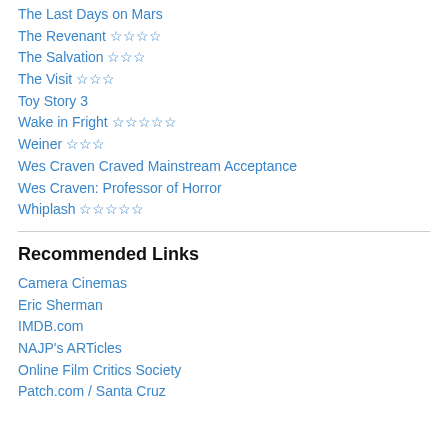The Last Days on Mars
The Revenant ☆☆☆☆
The Salvation ☆☆☆
The Visit ☆☆☆
Toy Story 3
Wake in Fright ☆☆☆☆☆
Weiner ☆☆☆
Wes Craven Craved Mainstream Acceptance
Wes Craven: Professor of Horror
Whiplash ☆☆☆☆☆
Recommended Links
Camera Cinemas
Eric Sherman
IMDB.com
NAJP's ARTicles
Online Film Critics Society
Patch.com / Santa Cruz